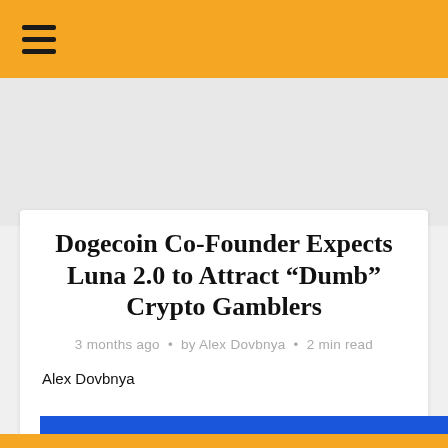☰
[Figure (other): Advertisement/placeholder gray area]
Dogecoin Co-Founder Expects Luna 2.0 to Attract “Dumb” Crypto Gamblers
3 months ago • by Alex Dovbnya • 2 min read
Alex Dovbnya